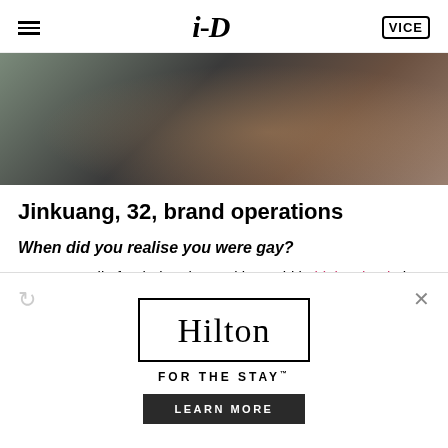i-D  VICE
[Figure (photo): Close-up photo of a person in dark clothing against a textured concrete/stone wall, only hands and torso visible, showing dark fabric]
Jinkuang, 32, brand operations
When did you realise you were gay?
It wasn't until after being dumped by a girl in high school, that I started to like a boy in my class and realised I was
[Figure (other): Hilton hotel advertisement overlay with Hilton logo in a box, tagline FOR THE STAY, and LEARN MORE button. Has reload and close icons.]